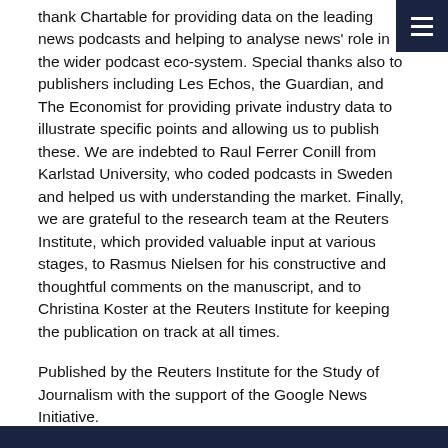thank Chartable for providing data on the leading news podcasts and helping to analyse news' role in the wider podcast eco-system. Special thanks also to publishers including Les Echos, the Guardian, and The Economist for providing private industry data to illustrate specific points and allowing us to publish these. We are indebted to Raul Ferrer Conill from Karlstad University, who coded podcasts in Sweden and helped us with understanding the market. Finally, we are grateful to the research team at the Reuters Institute, which provided valuable input at various stages, to Rasmus Nielsen for his constructive and thoughtful comments on the manuscript, and to Christina Koster at the Reuters Institute for keeping the publication on track at all times.
Published by the Reuters Institute for the Study of Journalism with the support of the Google News Initiative.